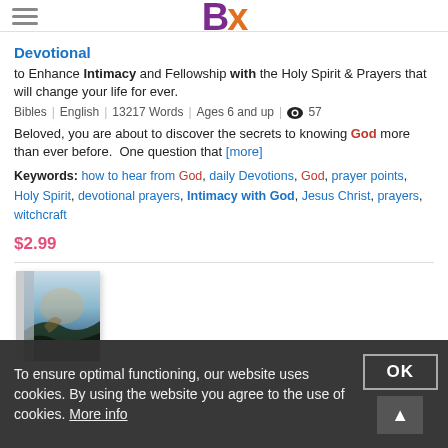BX logo and hamburger menu
Devotional
to Enhance Intimacy and Fellowship with the Holy Spirit & Prayers that will change your life for ever.
Bibles | English | 13217 Words | Ages 6 and up | 👁 57
Beloved, you are about to discover the secrets to knowing God more than ever before.  One question that [more]
Keywords: how to hear from God, daily Devotions, God, prayer points, Holy Spirit, devotional prayers, Intimacy with God, Jesus Christ, prayers, witchcraft
$2.99
[Figure (photo): Book cover image with dark blue/teal artistic painting style showing a figure in a landscape]
To ensure optimal functioning, our website uses cookies. By using the website you agree to the use of cookies. More info